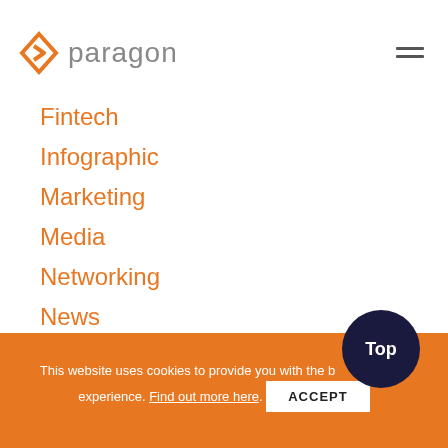paragon
Fintech
Infographic
Marketing
Media
Networking
News
Podcast
Public Relations
Social Media
This website uses cookies to provide you with the best browsing experience. Find out more here.
ACCEPT
Top